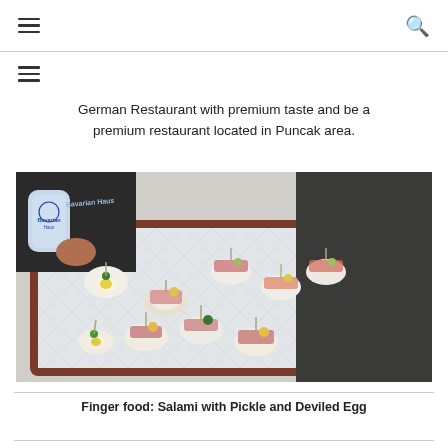≡  🔍
≡
German Restaurant with premium taste and be a premium restaurant located in Puncak area.
[Figure (photo): A tray of finger food items including salami rolls with pickle, deviled eggs, and other appetizers on toothpick skewers, arranged on a white tiled serving board. A person in a dark shirt holds a can in the background.]
Finger food: Salami with Pickle and Deviled Egg